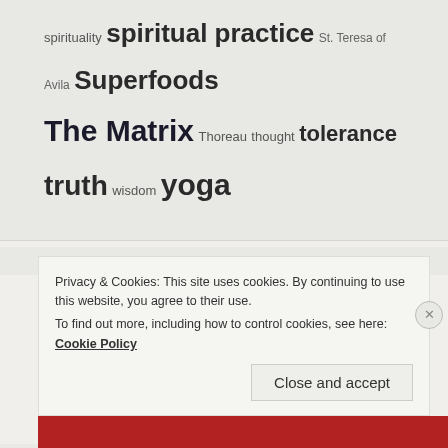spirituality spiritual practice St. Teresa of Avila Superfoods The Matrix Thoreau thought tolerance truth wisdom yoga
ARCHIVES
January 2016
June 2015
May 2015
Privacy & Cookies: This site uses cookies. By continuing to use this website, you agree to their use. To find out more, including how to control cookies, see here: Cookie Policy
Close and accept